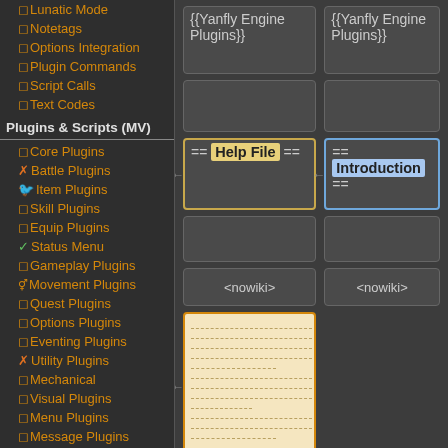Lunatic Mode
Notetags
Options Integration
Plugin Commands
Script Calls
Text Codes
Plugins & Scripts (MV)
Core Plugins
Battle Plugins
Item Plugins
Skill Plugins
Equip Plugins
Status Menu
Gameplay Plugins
Movement Plugins
Quest Plugins
Options Plugins
Eventing Plugins
Utility Plugins
Mechanical
Visual Plugins
Menu Plugins
Message Plugins
[Figure (screenshot): Wiki editor interface showing two columns of editing boxes. Left column has {{Yanfly Engine Plugins}} template box, empty box, == Help File == box (highlighted yellow), empty box, and <nowiki> box, followed by a large text content area and Introduction label. Right column has {{Yanfly Engine Plugins}} template box, empty box, == Introduction == box (highlighted blue), empty box, and <nowiki> box.]